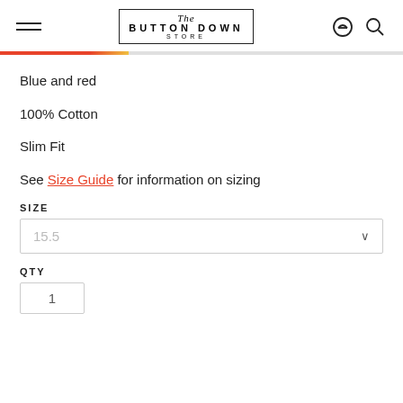The Button Down Store
Blue and red
100% Cotton
Slim Fit
See Size Guide for information on sizing
SIZE
15.5
QTY
1